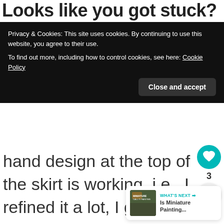Looks like you got stuck?
Privacy & Cookies: This site uses cookies. By continuing to use this website, you agree to their use.
To find out more, including how to control cookies, see here: Cookie Policy
Close and accept
hand design at the top of the skirt is working, i.e., I refined it a lot, I got stuck as I went down the cloak.
[Figure (other): Heart/like button icon (teal circle with heart), like count 3, and share button]
[Figure (other): What's Next widget: thumbnail image with label 'WHAT'S NEXT' and title 'Is Miniature Painting...']